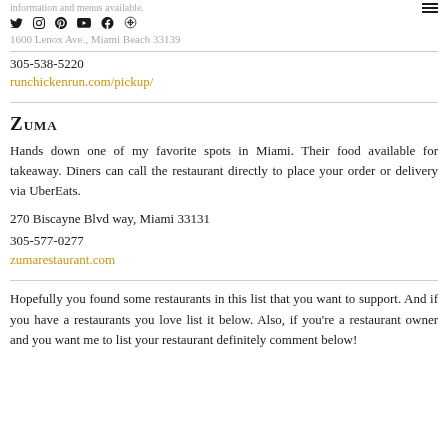information and menus available.
1600 Lenox Ave., Miami Beach 33139
305-538-5220
runchickenrun.com/pickup/
ZUMA
Hands down one of my favorite spots in Miami. Their food available for takeaway. Diners can call the restaurant directly to place your order or delivery via UberEats.
270 Biscayne Blvd way, Miami 33131
305-577-0277
zumarestaurant.com
Hopefully you found some restaurants in this list that you want to support. And if you have a restaurants you love list it below. Also, if you're a restaurant owner and you want me to list your restaurant definitely comment below!